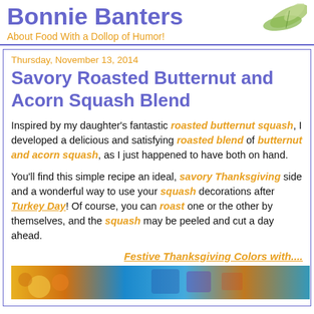Bonnie Banters - About Food With a Dollop of Humor!
Thursday, November 13, 2014
Savory Roasted Butternut and Acorn Squash Blend
Inspired by my daughter's fantastic roasted butternut squash, I developed a delicious and satisfying roasted blend of butternut and acorn squash, as I just happened to have both on hand.
You'll find this simple recipe an ideal, savory Thanksgiving side and a wonderful way to use your squash decorations after Turkey Day!  Of course, you can roast one or the other by themselves, and the squash may be peeled and cut a day ahead.
Festive Thanksgiving Colors with....
[Figure (photo): Photo strip showing colorful squash and food items]